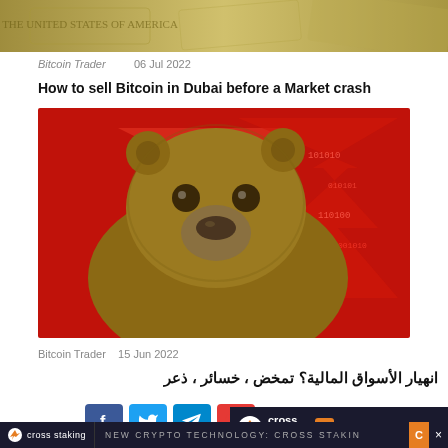[Figure (photo): Partial view of US dollar bills, cropped at top of page]
Bitcoin Trader    06 Jul 2022
How to sell Bitcoin in Dubai before a Market crash
[Figure (photo): Brown bear facing camera with red financial chart background with binary numbers]
Bitcoin Trader    15 Jun 2022
انهيار الأسواق المالية؟ تمخض ، خسائر ، ذعر
[Figure (screenshot): Social media share buttons (Facebook, Twitter, Telegram, YouTube) and Cross Staking advertisement banner overlay]